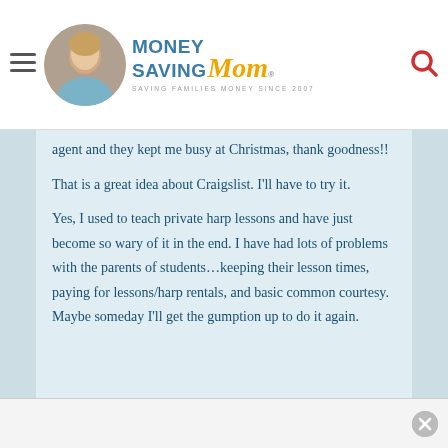MoneySavingMom® — SAVING FAMILIES MONEY SINCE 2007
agent and they kept me busy at Christmas, thank goodness!!
That is a great idea about Craigslist. I'll have to try it.
Yes, I used to teach private harp lessons and have just become so wary of it in the end. I have had lots of problems with the parents of students…keeping their lesson times, paying for lessons/harp rentals, and basic common courtesy. Maybe someday I'll get the gumption up to do it again.